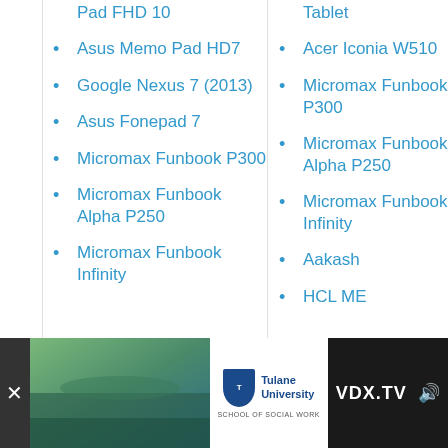Pad FHD 10
Asus Memo Pad HD7
Google Nexus 7 (2013)
Asus Fonepad 7
Micromax Funbook P300
Micromax Funbook Alpha P250
Micromax Funbook Infinity
Tablet
Acer Iconia W510
Micromax Funbook P300
Micromax Funbook Alpha P250
Micromax Funbook Infinity
Aakash
HCL ME